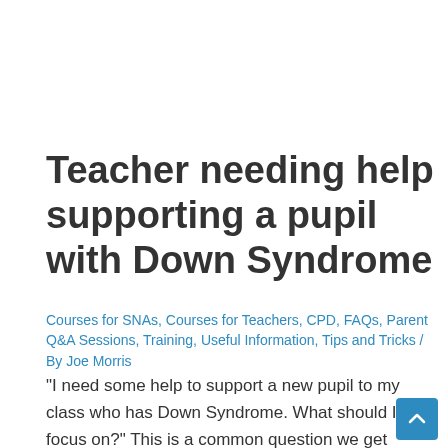Teacher needing help supporting a pupil with Down Syndrome
Courses for SNAs, Courses for Teachers, CPD, FAQs, Parent Q&A Sessions, Training, Useful Information, Tips and Tricks / By Joe Morris
“I need some help to support a new pupil to my class who has Down Syndrome. What should I focus on?” This is a common question we get asked a lot from teachers. It happens mostly before the new school year, but as many families move house